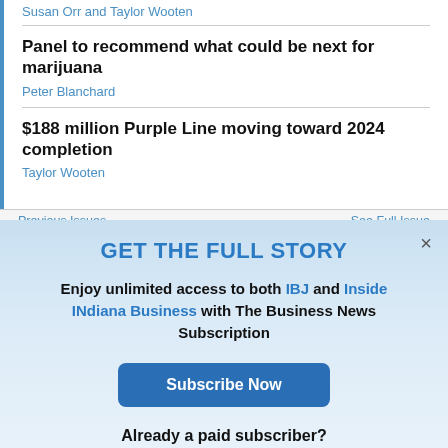Susan Orr and Taylor Wooten
Panel to recommend what could be next for marijuana
Peter Blanchard
$188 million Purple Line moving toward 2024 completion
Taylor Wooten
Previous Issues
See Full Issue
GET THE FULL STORY
Enjoy unlimited access to both IBJ and Inside INdiana Business with The Business News Subscription
Subscribe Now
Already a paid subscriber?
Log In